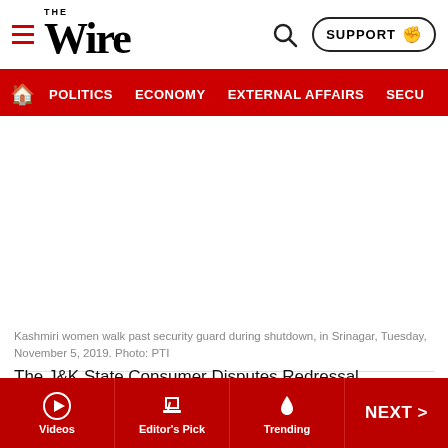THE WIRE — SUPPORT — POLITICS — ECONOMY — EXTERNAL AFFAIRS — SECU…
[Figure (photo): White/blank image area representing a photo of Kashmiri women walking past a security guard during shutdown in Srinagar]
Kashmiri women walk past security guard during shutdown, in Srinagar, Tuesday, November 5, 2019. Photo: PTI
The J&K State Consumer Disputes Redressal Commission is a quasi-judicial body which is part of the three-tier structure meant to ensure protection of consumer rights. According to sources, nearly 2,500 cases were pending for disposal in the State Consumer Disputes Redressal Commission until October 30, when the government of it t…
Videos | Editor's Pick | Trending | NEXT >